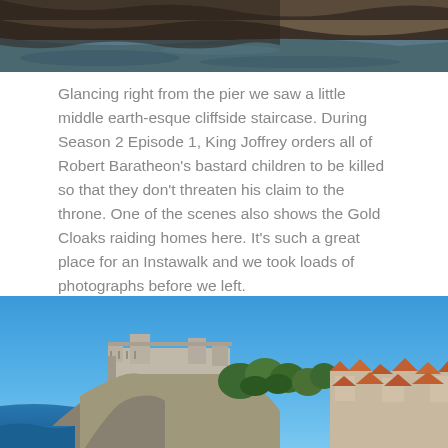[Figure (photo): Cropped top portion of a rocky cliffside coastal photo with sea water below]
Glancing right from the pier we saw a little middle earth-esque cliffside staircase. During Season 2 Episode 1, King Joffrey orders all of Robert Baratheon’s bastard children to be killed so that they don’t threaten his claim to the throne. One of the scenes also shows the Gold Cloaks raiding homes here. It’s such a great place for an Instawalk and we took loads of photographs before we left.
[Figure (photo): Photo of a medieval fortress/castle on a rocky hilltop overlooking the sea, with red-roofed buildings visible to the right under a clear blue sky — Dubrovnik, Croatia]